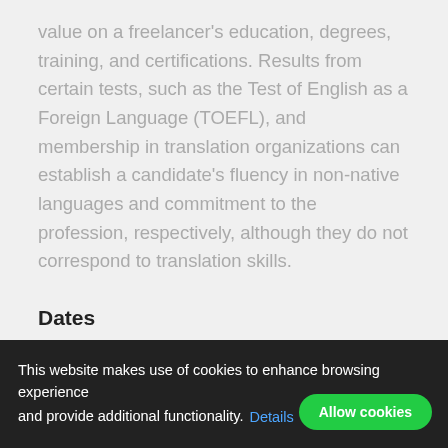value on a freelancer's education, degrees, training, and certifications. Results from certain tests, such as the Test of English as a Foreign Language (TOEFL), and membership in translation organizations can establish a candidate's fluency in non-native languages and commitment to the profession, respectively, although they do not correspond to translation skills.
Dates
Fears of age discrimination may lead professionals
This website makes use of cookies to enhance browsing experience and provide additional functionality. Details
Allow cookies